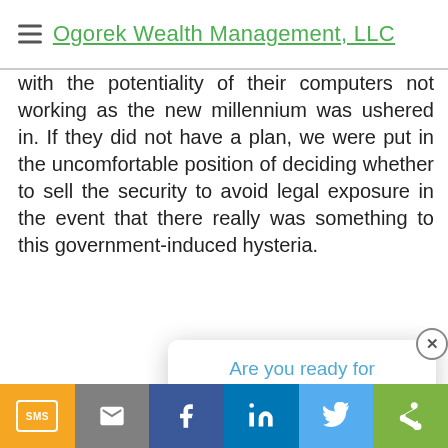Ogorek Wealth Management, LLC
with the potentiality of their computers not working as the new millennium was ushered in. If they did not have a plan, we were put in the uncomfortable position of deciding whether to sell the security to avoid legal exposure in the event that there really was something to this government-induced hysteria.
Today the... the guise... the term... implies th...
[Figure (screenshot): Popup modal with text 'Are you ready for retirement? Take our quiz to find out!' with a close button and a green action button below a divider.]